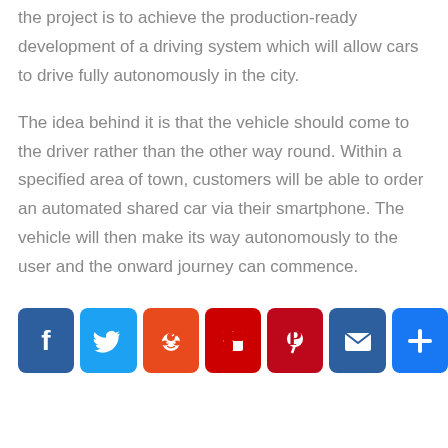the project is to achieve the production-ready development of a driving system which will allow cars to drive fully autonomously in the city.
The idea behind it is that the vehicle should come to the driver rather than the other way round. Within a specified area of town, customers will be able to order an automated shared car via their smartphone. The vehicle will then make its way autonomously to the user and the onward journey can commence.
[Figure (other): Social media sharing buttons: Facebook, Twitter, Reddit, Flipboard, Pinterest, Email, Share]